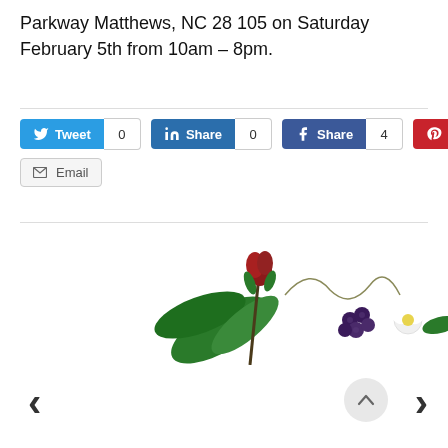Parkway Matthews, NC 28105 on Saturday February 5th from 10am – 8pm.
[Figure (illustration): Partial illustration of flowers, leaves, berries and botanical elements, cropped at the bottom of the visible area.]